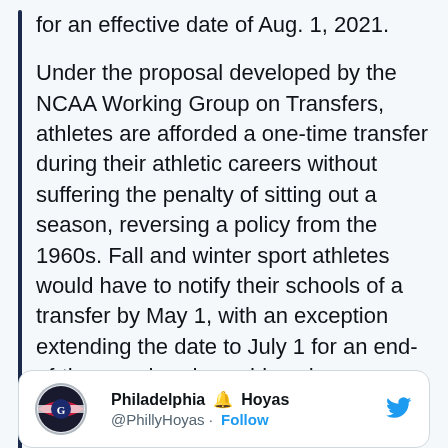for an effective date of Aug. 1, 2021.

Under the proposal developed by the NCAA Working Group on Transfers, athletes are afforded a one-time transfer during their athletic careers without suffering the penalty of sitting out a season, reversing a policy from the 1960s. Fall and winter sport athletes would have to notify their schools of a transfer by May 1, with an exception extending the date to July 1 for an end-of-the-year head coaching change or the non-renewal of scholarships. Spring sport athletes would have until July 1 to notify schools of transfer. Athletes missing those deadlines would not be immediately eligible at their new school.
[Figure (screenshot): Embedded tweet card showing Philadelphia Hoyas account (@PhillyHoyas) with a Follow link and Twitter bird logo]